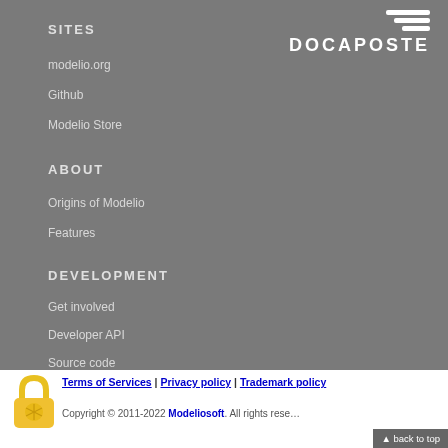[Figure (logo): Docaposte logo with three horizontal lines stacked (hamburger menu style) above the text DOCAPOSTE in white, on grey background]
SITES
modelio.org
Github
Modelio Store
ABOUT
Origins of Modelio
Features
DEVELOPMENT
Get involved
Developer API
Source code
Terms of Services | Privacy policy | Trademark policy
Copyright © 2011-2022 Modeliosoft. All rights reserved
▲ back to top